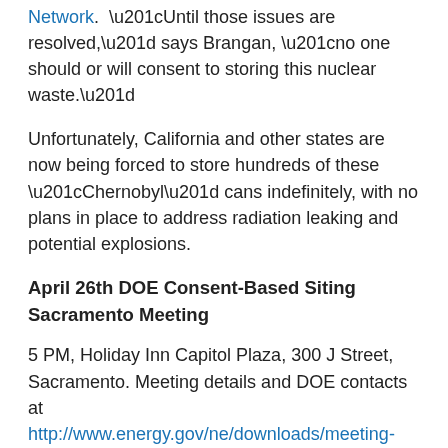Network.  “Until those issues are resolved,” says Brangan, “no one should or will consent to storing this nuclear waste.”
Unfortunately, California and other states are now being forced to store hundreds of these “Chernobyl” cans indefinitely, with no plans in place to address radiation leaking and potential explosions.
April 26th DOE Consent-Based Siting Sacramento Meeting
5 PM, Holiday Inn Capitol Plaza, 300 J Street, Sacramento. Meeting details and DOE contacts at http://www.energy.gov/ne/downloads/meeting-materials-consent-based-siting-public-meeting-sacramento-april-26-2016